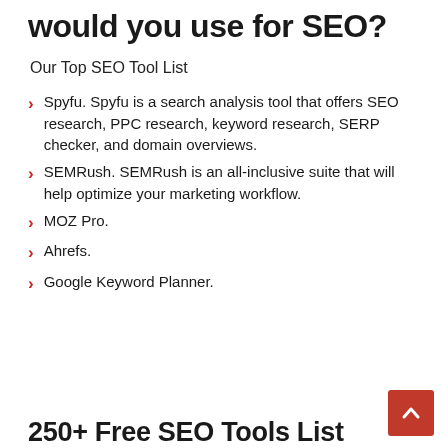would you use for SEO?
Our Top SEO Tool List
Spyfu. Spyfu is a search analysis tool that offers SEO research, PPC research, keyword research, SERP checker, and domain overviews.
SEMRush. SEMRush is an all-inclusive suite that will help optimize your marketing workflow.
MOZ Pro.
Ahrefs.
Google Keyword Planner.
250+ Free SEO Tools List